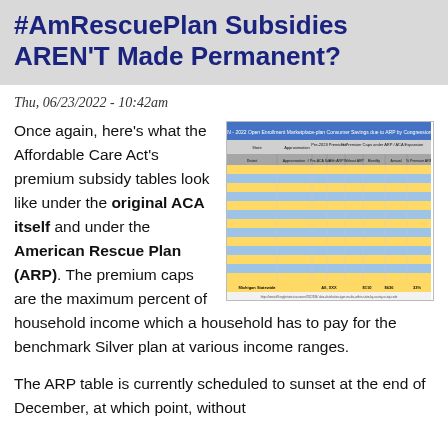#AmRescuePlan Subsidies AREN'T Made Permanent?
Thu, 06/23/2022 - 10:42am
[Figure (table-as-image): A colorful table showing ACA premium subsidy data by congressional district, with columns for state, district, approximation, pre-ACA premium, and premium caps under ARP and original ACA at various income ranges. Rows are highlighted in alternating yellow and blue.]
Once again, here's what the Affordable Care Act's premium subsidy tables look like under the original ACA itself and under the American Rescue Plan (ARP). The premium caps are the maximum percent of household income which a household has to pay for the benchmark Silver plan at various income ranges.
The ARP table is currently scheduled to sunset at the end of December, at which point, without